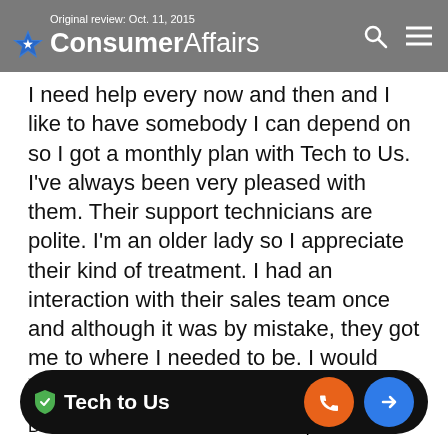Original review: Oct. 11, 2015 · ConsumerAffairs
I need help every now and then and I like to have somebody I can depend on so I got a monthly plan with Tech to Us. I've always been very pleased with them. Their support technicians are polite. I'm an older lady so I appreciate their kind of treatment. I had an interaction with their sales team once and although it was by mistake, they got me to where I needed to be. I would recommend them.
👍 Helpful
Be the first one to find this review helpful
🛡 Tech to Us